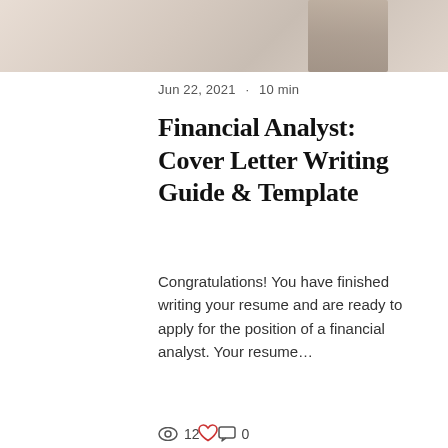[Figure (photo): Top portion of a decorative photo showing a workspace or desk scene with soft beige and warm tones]
Jun 22, 2021  ·  10 min
Financial Analyst: Cover Letter Writing Guide & Template
Congratulations! You have finished writing your resume and are ready to apply for the position of a financial analyst. Your resume…
👁 12  💬 0  ♡
[Figure (photo): Bottom portion of another decorative photo showing a desk or workspace with warm brown and cream tones]